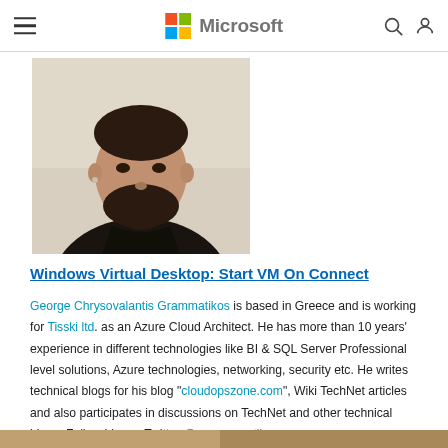Microsoft
[Figure (photo): Profile photo of a man with dark beard wearing a black t-shirt, appears to be indoors]
Windows Virtual Desktop: Start VM On Connect
George Chrysovalantis Grammatikos is based in Greece and is working for Tisski ltd. as an Azure Cloud Architect. He has more than 10 years' experience in different technologies like BI & SQL Server Professional level solutions, Azure technologies, networking, security etc. He writes technical blogs for his blog "cloudopszone.com", Wiki TechNet articles and also participates in discussions on TechNet and other technical blogs. Follow him on Twitter @gxgrammatikos.
[Figure (photo): Partial view of another profile photo at the bottom of the page]